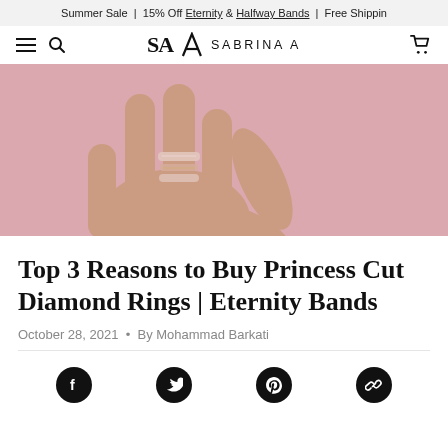Summer Sale | 15% Off Eternity & Halfway Bands | Free Shipping
SABRINA A
[Figure (photo): Close-up of a hand with fingers raised against a pink background, wearing multiple stacked diamond eternity bands and rings on one finger.]
Top 3 Reasons to Buy Princess Cut Diamond Rings | Eternity Bands
October 28, 2021 • By Mohammad Barkati
[Figure (infographic): Social sharing icons: Facebook, Twitter, Pinterest, and link/copy icon, displayed as white symbols on black circular backgrounds.]